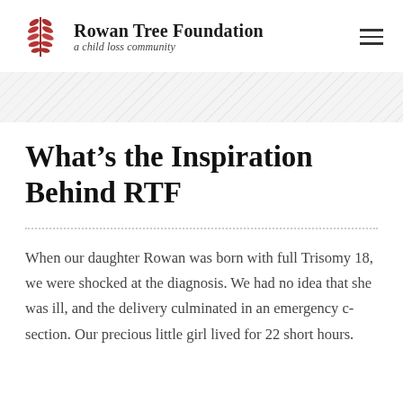Rowan Tree Foundation — a child loss community
What's the Inspiration Behind RTF
When our daughter Rowan was born with full Trisomy 18, we were shocked at the diagnosis. We had no idea that she was ill, and the delivery culminated in an emergency c-section. Our precious little girl lived for 22 short hours.